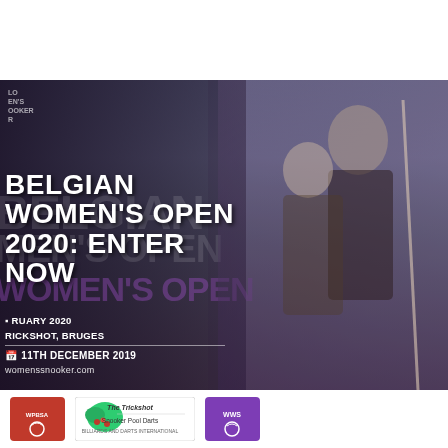[Figure (photo): Promotional banner for Belgian Women's Open 2020 snooker tournament. Shows two female snooker players against a backdrop of Bruges buildings and dramatic sky. Logos for WPBSA, The Trickshot (Snooker Pool Darts), and WWS appear at the bottom.]
BELGIAN WOMEN'S OPEN 2020: ENTER NOW
11th December 2019